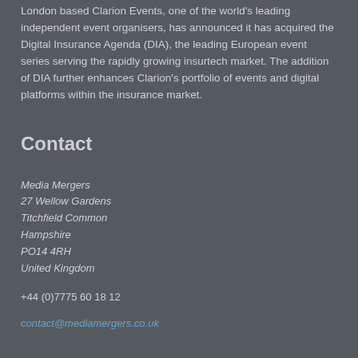London based Clarion Events, one of the world's leading independent event organisers, has announced it has acquired the Digital Insurance Agenda (DIA), the leading European event series serving the rapidly growing insurtech market. The addition of DIA further enhances Clarion's portfolio of events and digital platforms within the insurance market.
Contact
Media Mergers
27 Wellow Gardens
Titchfield Common
Hampshire
PO14 4RH
United Kingdom
+44 (0)7775 60 18 12
contact@mediamergers.co.uk